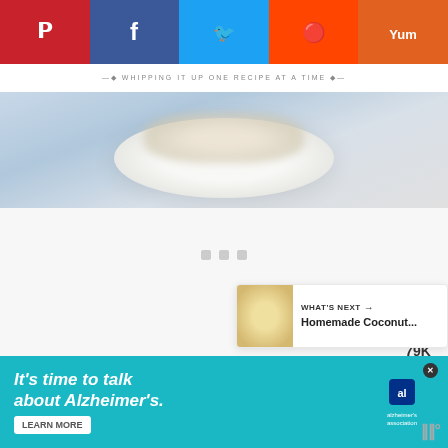[Figure (screenshot): Social share bar with Pinterest, Facebook, Twitter, Reddit, and Yummly buttons]
WHIPPING IT UP ONE RECIPE AT A TIME
[Figure (photo): Blurred food photo showing a white plate with food items on a light blue background]
[Figure (screenshot): Loading placeholder area with three gray squares indicating content loading]
[Figure (infographic): Heart save button with 79K count and share icon button on the right sidebar]
[Figure (screenshot): WHAT'S NEXT card showing Homemade Coconut... with a yellow thumbnail image]
[Figure (screenshot): Advertisement banner: It's time to talk about Alzheimer's. LEARN MORE - Alzheimer's Association]